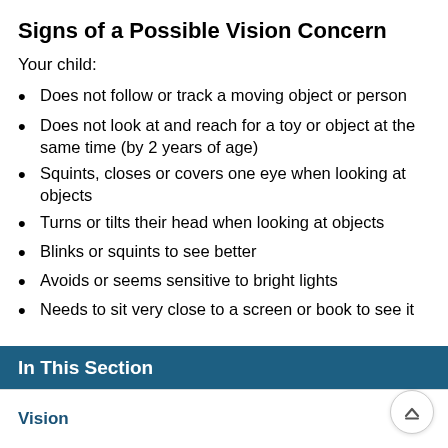Signs of a Possible Vision Concern
Your child:
Does not follow or track a moving object or person
Does not look at and reach for a toy or object at the same time (by 2 years of age)
Squints, closes or covers one eye when looking at objects
Turns or tilts their head when looking at objects
Blinks or squints to see better
Avoids or seems sensitive to bright lights
Needs to sit very close to a screen or book to see it
In This Section
Vision